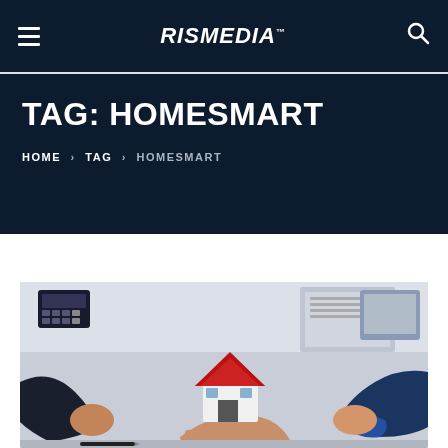RisMedia
TAG: HOMESMART
HOME > TAG > HOMESMART
[Figure (photo): Two people in business attire holding a small model house with a red roof over a desk, with a calculator and laptop in the background.]